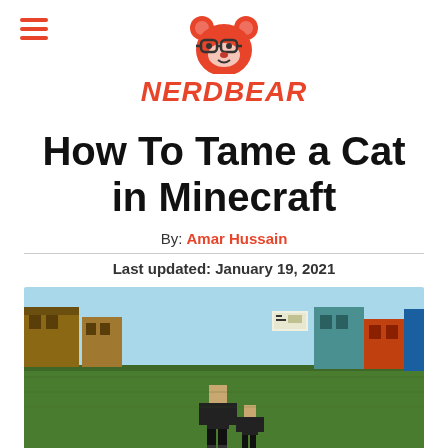NERDBEAR
How To Tame a Cat in Minecraft
By: Amar Hussain
Last updated: January 19, 2021
[Figure (screenshot): Minecraft gameplay screenshot showing a grassy landscape with buildings and a player character in the foreground]